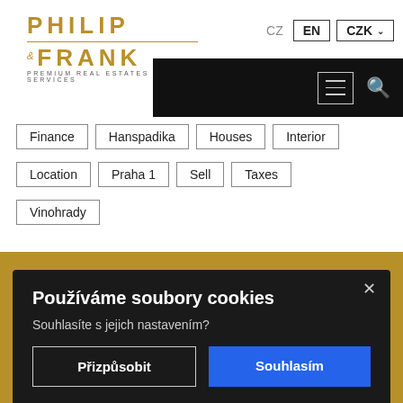[Figure (logo): Philip & Frank Premium Real Estate Services logo in gold/brown color]
CZ  EN  CZK
[Figure (screenshot): Black navigation bar with hamburger menu icon and search icon]
Finance
Hanspadika
Houses
Interior
Location
Praha 1
Sell
Taxes
Vinohrady
Používáme soubory cookies
Souhlasíte s jejich nastavením?
Přizpůsobit  Souhlasím